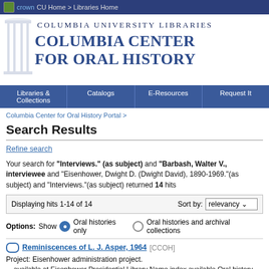CU Home > Libraries Home
[Figure (logo): Columbia University Libraries / Columbia Center for Oral History logo with column illustration]
Libraries & Collections | Catalogs | E-Resources | Request It
Columbia Center for Oral History Portal >
Search Results
Refine search
Your search for "Interviews." (as subject) and "Barbash, Walter V., interviewee" and "Eisenhower, Dwight D. (Dwight David), 1890-1969."(as subject) and "Interviews."(as subject) returned 14 hits
Displaying hits 1-14 of 14    Sort by: relevancy
Options: Show  Oral histories only  Oral histories and archival collections
Reminiscences of L. J. Asper, 1964 [CCOH]
Project: Eisenhower administration project.
... available at Eisenhower Presidential Library Name index available Oral history Oral hi... Submitted 05/--/76 Asper, Levy 1. Interviews. Eisenhower, Dwight D. (Dwight David...